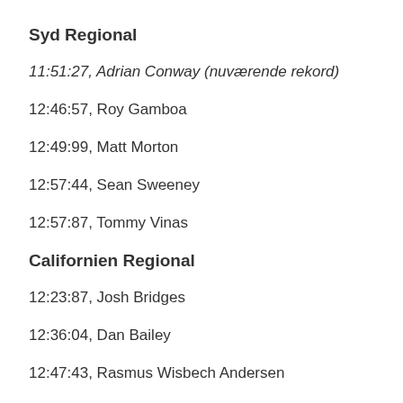Syd Regional
11:51:27, Adrian Conway (nuværende rekord)
12:46:57, Roy Gamboa
12:49:99, Matt Morton
12:57:44, Sean Sweeney
12:57:87, Tommy Vinas
Californien Regional
12:23:87, Josh Bridges
12:36:04, Dan Bailey
12:47:43, Rasmus Wisbech Andersen
12:47:57, Henry Lopez